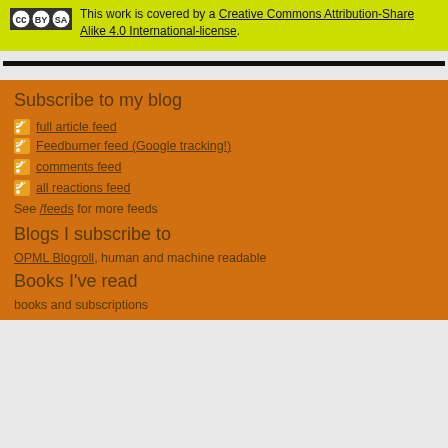[Figure (logo): Creative Commons BY-SA logo badge]
This work is covered by a Creative Commons Attribution-Share Alike 4.0 International-license.
Subscribe to my blog
full article feed
Feedburner feed (Google tracking!)
comments feed
all reactions feed
See /feeds for more feeds
Blogs I subscribe to
OPML Blogroll, human and machine readable
Books I've read
books and subscriptions